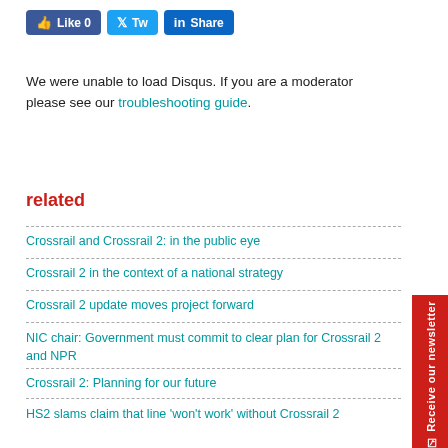[Figure (other): Social sharing buttons: Like 0 (Facebook), Tweet (Twitter), Share (LinkedIn)]
We were unable to load Disqus. If you are a moderator please see our troubleshooting guide.
related
Crossrail and Crossrail 2: in the public eye
Crossrail 2 in the context of a national strategy
Crossrail 2 update moves project forward
NIC chair: Government must commit to clear plan for Crossrail 2 and NPR
Crossrail 2: Planning for our future
HS2 slams claim that line 'won't work' without Crossrail 2
London businesses endorse calls for 'Crossrail for the North'
Labour slams 'disgraceful' U-Turn on electrification projects
Northern uproar as Grayling backs Crossrail 2 after